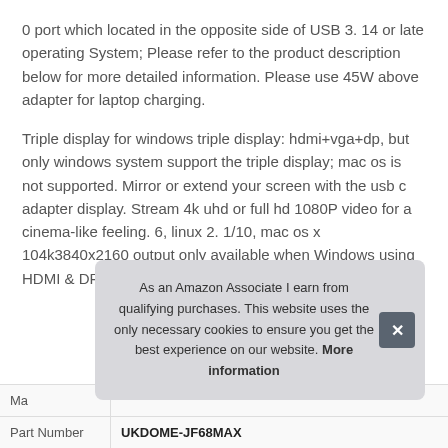0 port which located in the opposite side of USB 3. 14 or late operating System; Please refer to the product description below for more detailed information. Please use 45W above adapter for laptop charging.
Triple display for windows triple display: hdmi+vga+dp, but only windows system support the triple display; mac os is not supported. Mirror or extend your screen with the usb c adapter display. Stream 4k uhd or full hd 1080P video for a cinema-like feeling. 6, linux 2. 1/10, mac os x 104k3840x2160 output only available when Windows using HDMI & DP display. 6.
As an Amazon Associate I earn from qualifying purchases. This website uses the only necessary cookies to ensure you get the best experience on our website. More information
| Field | Value |
| --- | --- |
| Ma |  |
| Part Number | UKDOME-JF68MAX |